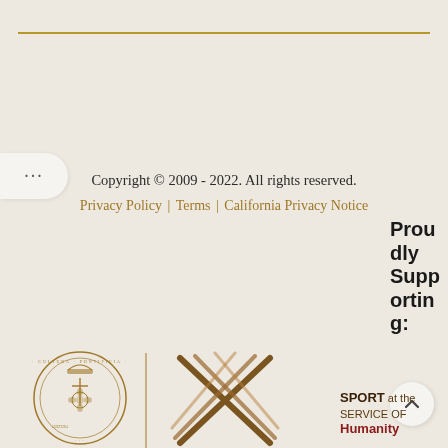Copyright © 2009 - 2022. All rights reserved.
Privacy Policy | Terms | California Privacy Notice
Proudly Supporting:
[Figure (logo): Pontifical seal/crest logo in gold/brown on beige background]
[Figure (logo): Sport at the Service of Humanity logo with crossed swords/implements in gold/brown]